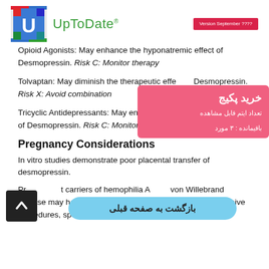[Figure (logo): UpToDate logo with colorful U icon, green UpToDate text, and red Version September badge]
Opioid Agonists: May enhance the hyponatremic effect of Desmopressin. Risk C: Monitor therapy
Tolvaptan: May diminish the therapeutic effect of Desmopressin. Risk X: Avoid combination
Tricyclic Antidepressants: May enhance the hyponatremic effect of Desmopressin. Risk C: Monitor therapy
Pregnancy Considerations
In vitro studies demonstrate poor placental transfer of desmopressin.
Pregnant carriers of hemophilia A or von Willebrand disease may have an increased bleeding risk following invasive procedures, spontaneous miscarriage